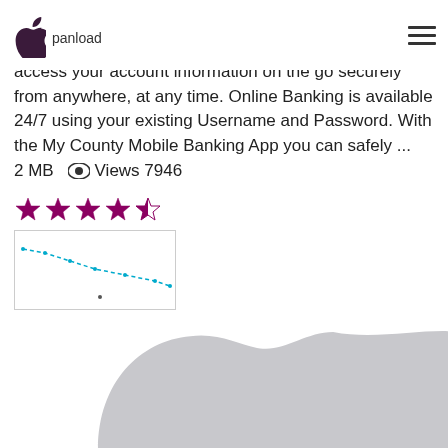panload
access your account information on the go securely from anywhere, at any time. Online Banking is available 24/7 using your existing Username and Password. With the My County Mobile Banking App you can safely ...   2 MB   Views 7946
[Figure (other): 4.5 star rating shown with filled and half-filled stars]
[Figure (other): Small thumbnail chart or preview image with blue line graph on white background with border]
[Figure (logo): Large Apple logo watermark in light gray occupying the lower half of the page]